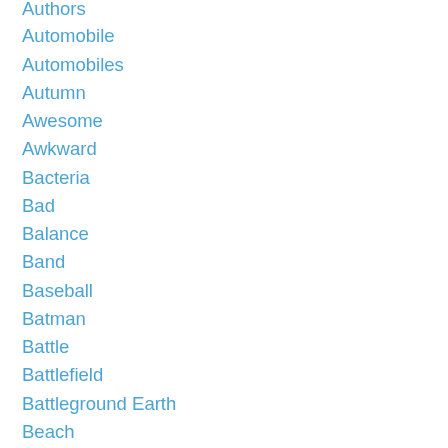Authors
Automobile
Automobiles
Autumn
Awesome
Awkward
Bacteria
Bad
Balance
Band
Baseball
Batman
Battle
Battlefield
Battleground Earth
Beach
Behave
Behavior
Behind
Believe